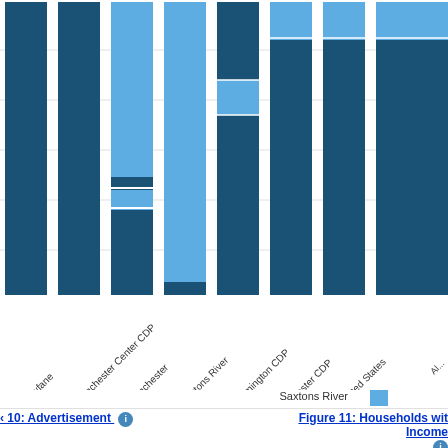[Figure (stacked-bar-chart): Partial stacked bar chart showing multiple geographic locations including Newfane, Manchester Center CDP, Manchester, Saxtons River, Wilmington CDP, Chester CDP, United States, and others. Bars are in dark blue and light blue segments extending from top.]
Figure 10: Advertisement
Figure 11: Households with Income
Saxtons River
[Figure (infographic): Advertisement banner for Belk.com - Belk® - Official Site. Shop for clothing, handbags, jewelry, beauty, home & more! www.belk.com]